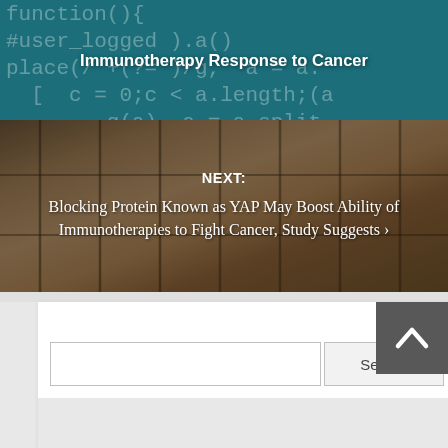[Figure (screenshot): Top banner image showing code/bioinformatics background (teal/dark with code text) with white bold title text overlay reading 'New Method Uses Bioinformatics to Monitor Immunotherapy Response to Cancer']
New Method Uses Bioinformatics to Monitor Immunotherapy Response to Cancer
[Figure (photo): Photo of a white laboratory mouse/rat in a cage with metal bars, dark overlay on top, with 'NEXT:' label and article title text overlay]
NEXT: Blocking Protein Known as YAP May Boost Ability of Immunotherapies to Fight Cancer, Study Suggests ›
[Figure (screenshot): Website UI element showing a search bar with text input field and Search button, plus a scroll-to-top button (chevron up icon) in the upper right]